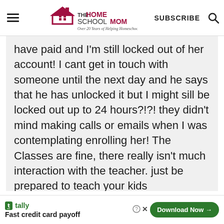[Figure (logo): The HomeSchool Mom logo with house icon and tagline 'Over 20 Years of Helping Homeschoolers!']
have paid and I'm still locked out of her account! I cant get in touch with someone until the next day and he says that he has unlocked it but I might sill be locked out up to 24 hours?!?! they didn't mind making calls or emails when I was contemplating enrolling her! The Classes are fine, there really isn't much interaction with the teacher. just be prepared to teach your kids
[Figure (screenshot): Tally app advertisement banner: 'Fast credit card payoff' with green 'Download Now →' button]